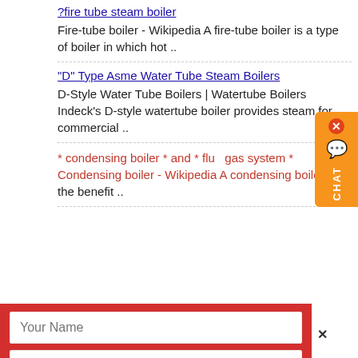?fire tube steam boiler
Fire-tube boiler - Wikipedia A fire-tube boiler is a type of boiler in which hot ..
"D" Type Asme Water Tube Steam Boilers
D-Style Water Tube Boilers | Watertube Boilers Indeck's D-style watertube boiler provides steam for commercial ..
* condensing boiler * and * flue gas system *
Condensing boiler - Wikipedia A condensing boiler d the benefit ..
[Figure (screenshot): Chat widget on right side with X close button, chat bubble icon, and CHAT label in vertical text, on orange background]
[Figure (screenshot): Overlay contact form with red background, X close button, fields: Your Name, E-mail, -please select product- dropdown, capacity, More information button, Submit button, and partial text about product warranty oil fired natural gasfried hot water and condensing boilers sale with good price]
product warranty oil fired natural gasfried hot water
densing boilers sale with good price